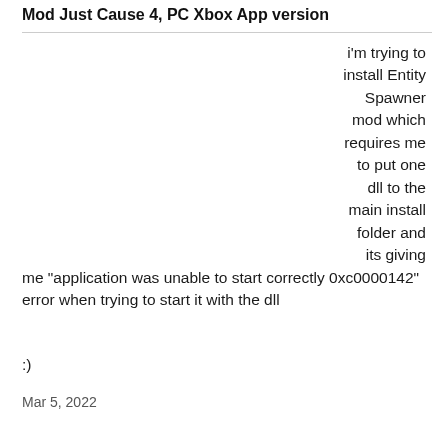Mod Just Cause 4, PC Xbox App version
i'm trying to install Entity Spawner mod which requires me to put one dll to the main install folder and its giving me "application was unable to start correctly 0xc0000142" error when trying to start it with the dll
:)
Mar 5, 2022